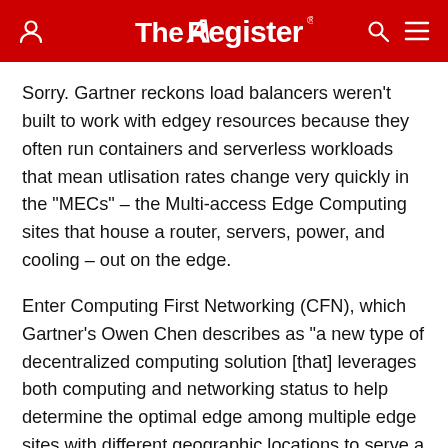The Register
Sorry. Gartner reckons load balancers weren't built to work with edgey resources because they often run containers and serverless workloads that mean utlisation rates change very quickly in the "MECs" – the Multi-access Edge Computing sites that house a router, servers, power, and cooling – out on the edge.
Enter Computing First Networking (CFN), which Gartner's Owen Chen describes as "a new type of decentralized computing solution [that] leverages both computing and networking status to help determine the optimal edge among multiple edge sites with different geographic locations to serve a specific edge computing request."